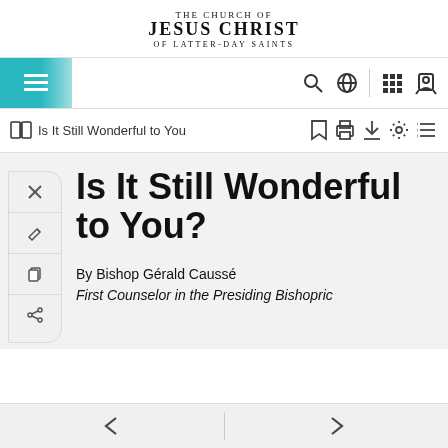THE CHURCH OF JESUS CHRIST OF LATTER-DAY SAINTS
[Figure (screenshot): Website navigation bar with hamburger menu on left with teal/cyan background, and icons on right: search, globe, grid, and person icons]
[Figure (screenshot): Toolbar with book icon and title 'Is It Still Wonderful to You', bookmark, print, download, settings, and list icons]
Is It Still Wonderful to You?
By Bishop Gérald Caussé
First Counselor in the Presiding Bishopric
← →